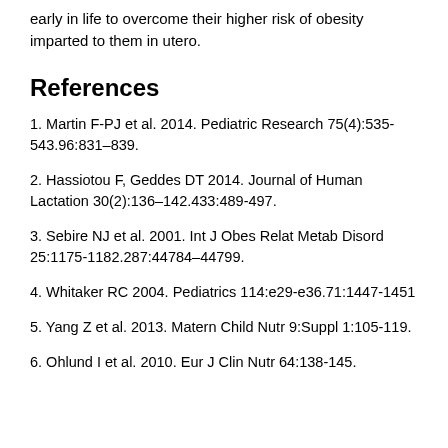early in life to overcome their higher risk of obesity imparted to them in utero.
References
1. Martin F-PJ et al. 2014. Pediatric Research 75(4):535-543.96:831–839.
2. Hassiotou F, Geddes DT 2014. Journal of Human Lactation 30(2):136–142.433:489-497.
3. Sebire NJ et al. 2001. Int J Obes Relat Metab Disord 25:1175-1182.287:44784–44799.
4. Whitaker RC 2004. Pediatrics 114:e29-e36.71:1447-1451
5. Yang Z et al. 2013. Matern Child Nutr 9:Suppl 1:105-119.
6. Ohlund I et al. 2010. Eur J Clin Nutr 64:138-145.